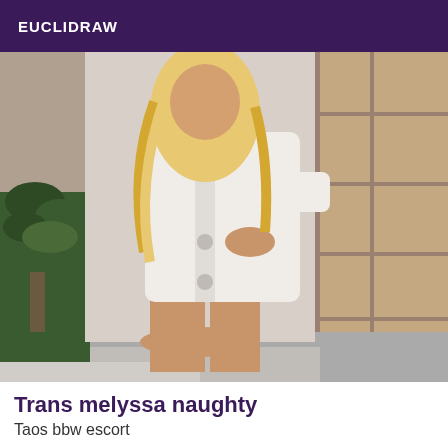EUCLIDRAW
[Figure (photo): A person with long curly blonde hair wearing a white blazer, posing on stone steps near a potted plant.]
Trans melyssa naughty
Taos bbw escort